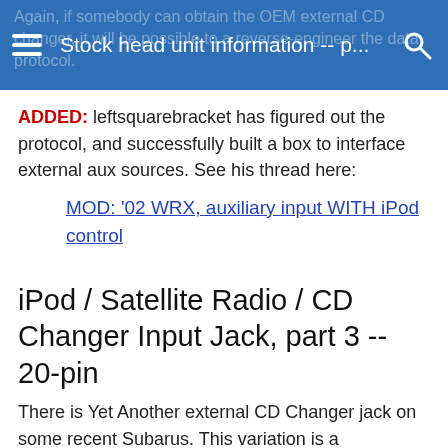Stock head unit information -- p...
ADDED: leftsquarebracket has figured out the protocol, and successfully built a box to interface external aux sources. See his thread here:
MOD: '02 WRX, auxiliary input WITH iPod control
iPod / Satellite Radio / CD Changer Input Jack, part 3 -- 20-pin
There is Yet Another external CD Changer jack on some recent Subarus. This variation is a rectangular, 20-pin jack. Also used on some models for Subaru's iPod interface and